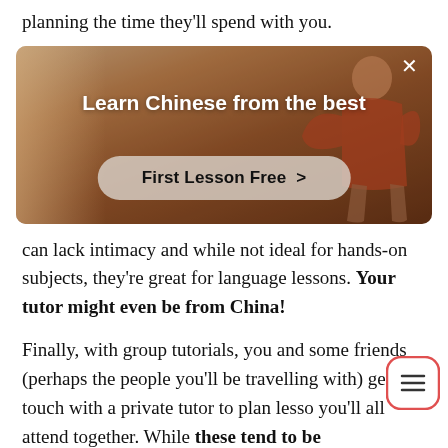planning the time they'll spend with you.
[Figure (screenshot): Advertisement banner for learning Chinese. Shows a person in a red outfit with text 'Learn Chinese from the best' and a button 'First Lesson Free >']
can lack intimacy and while not ideal for hands-on subjects, they're great for language lessons. Your tutor might even be from China!
Finally, with group tutorials, you and some friends (perhaps the people you'll be travelling with) get in touch with a private tutor to plan lessons you'll all attend together. While these tend to be